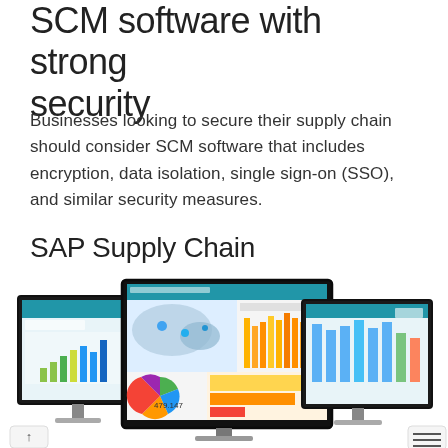SCM software with strong security
Businesses looking to secure their supply chain should consider SCM software that includes encryption, data isolation, single sign-on (SSO), and similar security measures.
SAP Supply Chain
[Figure (screenshot): Three computer monitor screens displaying SAP Supply Chain Management software dashboards, showing maps, bar charts, pie charts, and data visualizations including a number '479.147' and various colorful graphs.]